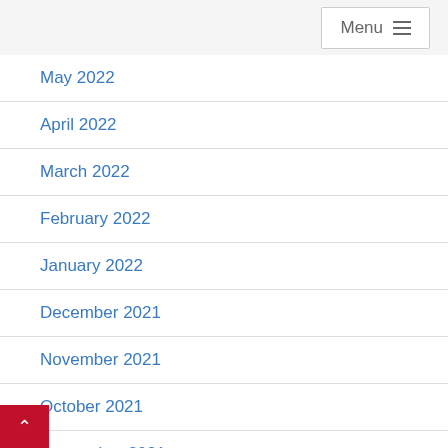Menu
May 2022
April 2022
March 2022
February 2022
January 2022
December 2021
November 2021
October 2021
September 2021
August 2021
July 2021
June 2021
May 2021